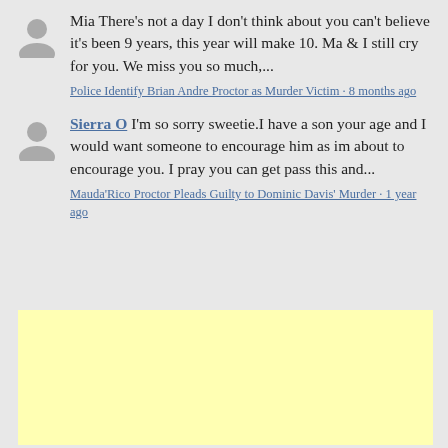Mia There's not a day I don't think about you can't believe it's been 9 years, this year will make 10. Ma & I still cry for you. We miss you so much,...
Police Identify Brian Andre Proctor as Murder Victim · 8 months ago
Sierra O I'm so sorry sweetie.I have a son your age and I would want someone to encourage him as im about to encourage you. I pray you can get pass this and...
Mauda'Rico Proctor Pleads Guilty to Dominic Davis' Murder · 1 year ago
[Figure (other): Yellow advertisement placeholder box]